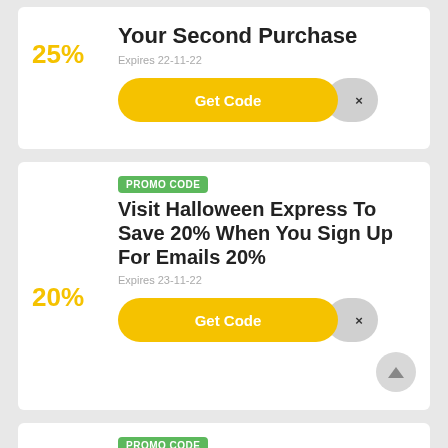25%
Your Second Purchase
Expires 22-11-22
Get Code  ×
PROMO CODE
20%
Visit Halloween Express To Save 20% When You Sign Up For Emails 20%
Expires 23-11-22
Get Code  ×
PROMO CODE
15% OFF Your Entire